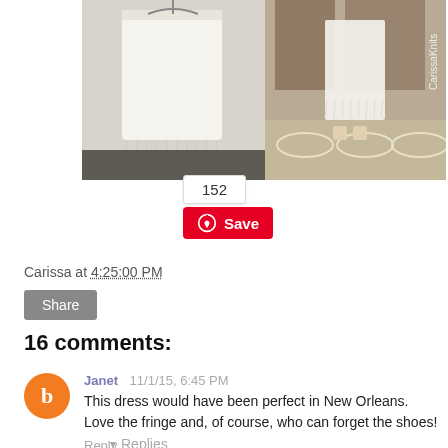[Figure (photo): Two fashion photos side by side: left shows a white fringed dress/shawl on a hanger, right shows a person wearing a white fringed outfit with heels on a patterned carpet, with 'CarissaKnits' watermark.]
152
Save
Carissa at 4:25:00 PM
Share
16 comments:
Janet  11/1/15, 6:45 PM
This dress would have been perfect in New Orleans. Love the fringe and, of course, who can forget the shoes!
Reply
▾  Replies
Carissa  11/22/15, 6:53 PM